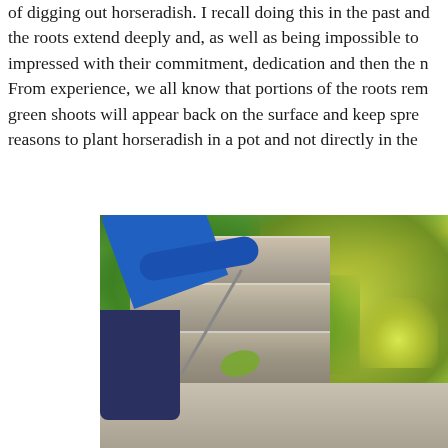of digging out horseradish. I recall doing this in the past and the roots extend deeply and, as well as being impossible to impressed with their commitment, dedication and then the n From experience, we all know that portions of the roots rem green shoots will appear back on the surface and keep spre reasons to plant horseradish in a pot and not directly in the
[Figure (photo): A person wearing a blue jacket and dark trousers, with black gloves, using a garden tool to dig near stone steps, surrounded by large leafy plants including horseradish, with small white flowers visible.]